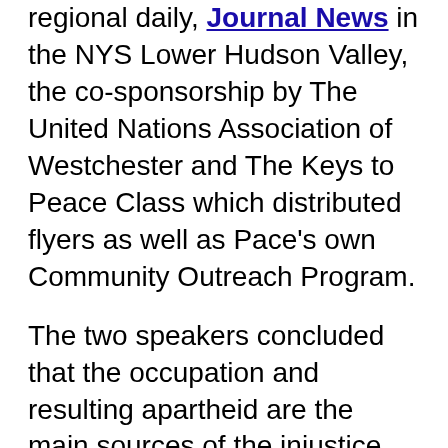regional daily, Journal News in the NYS Lower Hudson Valley, the co-sponsorship by The United Nations Association of Westchester and The Keys to Peace Class which distributed flyers as well as Pace's own Community Outreach Program.
The two speakers concluded that the occupation and resulting apartheid are the main sources of the injustice and repression which is inflicted on the Palestinian Nation.  The audience was alerted to the fact that many times the higher echelons of the military dehumanize their Palestinian foes and that this racist behavior is quite dangerous.  They further referred to the political establishment of Israel as a racist system not only when it comes to the [mis-]treatment of the Palestinians and Arabs, but also within the various strata of Israeli Jews, whereby the Ashkenazi's of Austro-Hungarian, German, Polish and Russian ancestries are at the helm, followed by the European Safaradics,